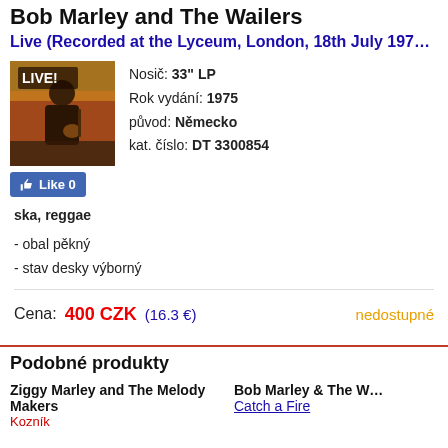Bob Marley and The Wailers
Live (Recorded at the Lyceum, London, 18th July 197…
Nosič: 33" LP
Rok vydání: 1975
původ: Německo
kat. číslo: DT 3300854
[Figure (photo): Album cover of Bob Marley Live at the Lyceum]
Like 0
ska, reggae
- obal pěkný
- stav desky výborný
Cena: 400 CZK  (16.3 €)  nedostupné
Podobné produkty
Ziggy Marley and The Melody Makers
Karnik
Bob Marley & The W…
Catch a Fire